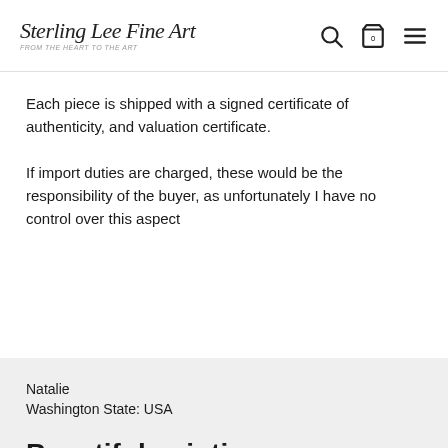Sterling Lee Fine Art
Each piece is shipped with a signed certificate of authenticity, and valuation certificate.
If import duties are charged, these would be the responsibility of the buyer, as unfortunately I have no control over this aspect
Natalie
Washington State: USA
Beautiful painting. Reasonable pricing - probably lower than he could have gotten based on the quality. Great